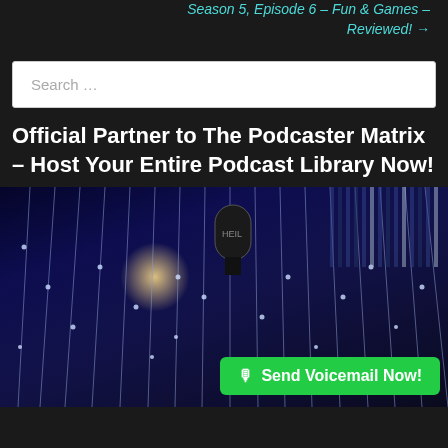Season 5, Episode 6 – Fun & Games – Reviewed! →
Search …
Official Partner to The Podcaster Matrix – Host Your Entire Podcast Library Now!
[Figure (photo): Photo showing hanging light strands/pendants with blue lighting and a microphone visible in the upper center area, shot from below looking up]